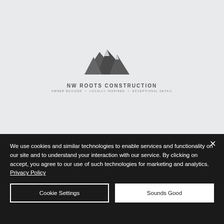[Figure (logo): NW Roots Construction logo with mountain silhouette graphic and text 'NW Roots Construction' with subtitle tagline]
We use cookies and similar technologies to enable services and functionality on our site and to understand your interaction with our service. By clicking on accept, you agree to our use of such technologies for marketing and analytics. Privacy Policy
Cookie Settings
Sounds Good